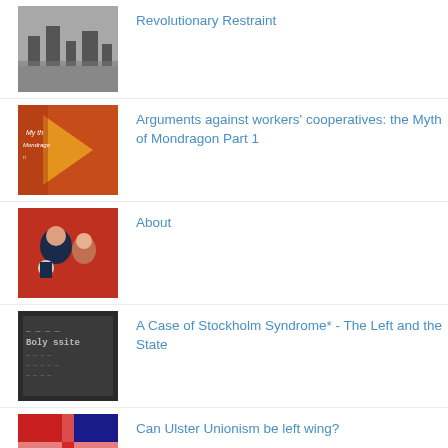Revolutionary Restraint
Arguments against workers' cooperatives: the Myth of Mondragon Part 1
About
A Case of Stockholm Syndrome* - The Left and the State
Can Ulster Unionism be left wing?